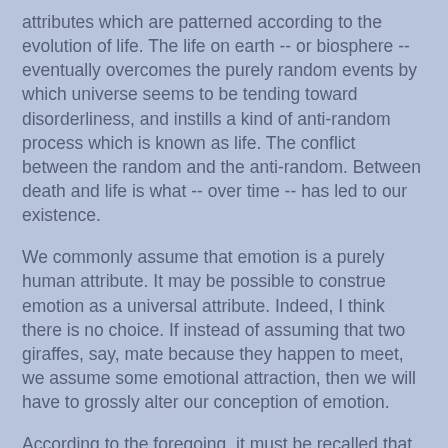attributes which are patterned according to the evolution of life. The life on earth -- or biosphere -- eventually overcomes the purely random events by which universe seems to be tending toward disorderliness, and instills a kind of anti-random process which is known as life. The conflict between the random and the anti-random. Between death and life is what -- over time -- has led to our existence.
We commonly assume that emotion is a purely human attribute. It may be possible to construe emotion as a universal attribute. Indeed, I think there is no choice. If instead of assuming that two giraffes, say, mate because they happen to meet, we assume some emotional attraction, then we will have to grossly alter our conception of emotion.
According to the foregoing, it must be recalled that motion is a function of time. The only sensible means for assuming the separation of percepts in motion in a reductive universe is time. Percepts not in motion, if there are two, must be connected conceptually. Their separation is not time-bound. In this reductive universe, emotion is a prognostication or a memory, depending on the direction of time. Percepts having